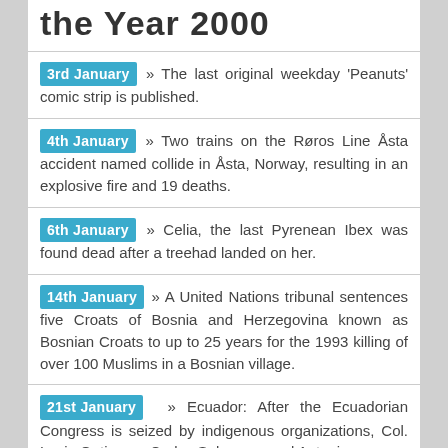the Year 2000
3rd January » The last original weekday 'Peanuts' comic strip is published.
4th January » Two trains on the Røros Line Åsta accident named collide in Åsta, Norway, resulting in an explosive fire and 19 deaths.
6th January » Celia, the last Pyrenean Ibex was found dead after a treehad landed on her.
14th January » A United Nations tribunal sentences five Croats of Bosnia and Herzegovina known as Bosnian Croats to up to 25 years for the 1993 killing of over 100 Muslims in a Bosnian village.
21st January » Ecuador: After the Ecuadorian Congress is seized by indigenous organizations, Col. Lucio Gutierrez, Carlos Solorzano and Antonio